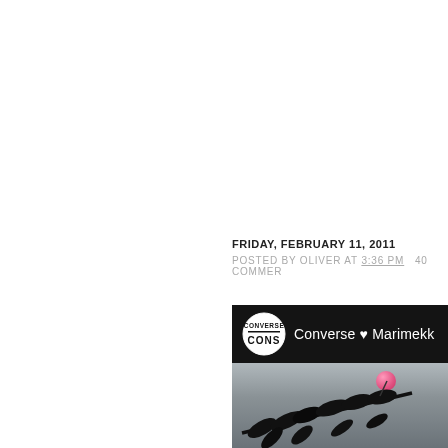[Figure (screenshot): YouTube video embed top portion showing blurred round metallic object, with 'Watch on YouTube' overlay bar at bottom]
FRIDAY, FEBRUARY 11, 2011
POSTED BY OLIVER AT 3:36 PM   40 COMMENTS
[Figure (screenshot): YouTube video embed showing Converse CONS logo and channel name 'Converse ♥ Marimekk' with plant/berry imagery below]